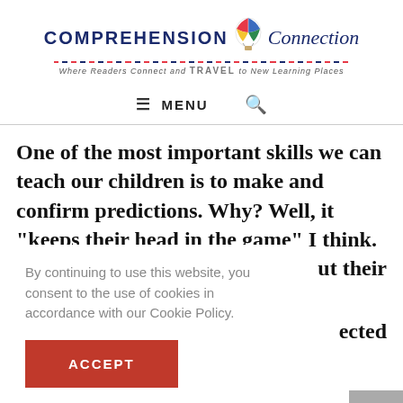[Figure (logo): Comprehension Connection blog logo with hot air balloon graphic, colorful underline, tagline 'Where Readers Connect and TRAVEL to New Learning Places']
≡ MENU  🔍
One of the most important skills we can teach our children is to make and confirm predictions. Why? Well, it "keeps their head in the game" I think. Kids who make and [confirm predictions think] about their [reading and stay conn]ected
By continuing to use this website, you consent to the use of cookies in accordance with our Cookie Policy.
ACCEPT